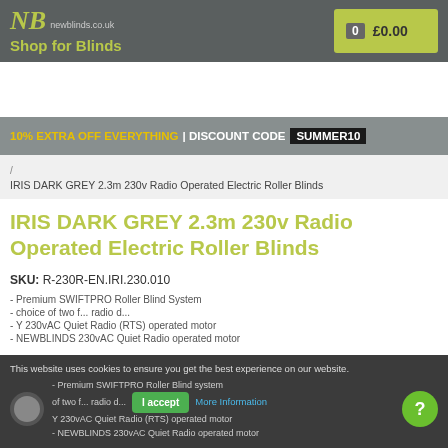NB newblinds.co.uk | Shop for Blinds | £0.00
10% EXTRA OFF EVERYTHING | DISCOUNT CODE SUMMER10
/ IRIS DARK GREY 2.3m 230v Radio Operated Electric Roller Blinds
IRIS DARK GREY 2.3m 230v Radio Operated Electric Roller Blinds
SKU: R-230R-EN.IRI.230.010
- Premium SWIFTPRO Roller Blind System
- Choice of two f... radio d...
- Y 230vAC Quiet Radio (RTS) operated motor
- NEWBLINDS 230vAC Quiet Radio operated motor
This website uses cookies to ensure you get the best experience on our website. I accept More Information